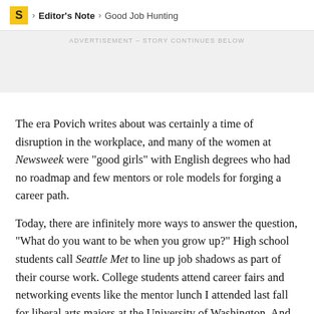S > Editor's Note > Good Job Hunting
ADVERTISEMENT – STORY CONTINUES BELOW
The era Povich writes about was certainly a time of disruption in the workplace, and many of the women at Newsweek were “good girls” with English degrees who had no roadmap and few mentors or role models for forging a career path.
Today, there are infinitely more ways to answer the question, “What do you want to be when you grow up?” High school students call Seattle Met to line up job shadows as part of their course work. College students attend career fairs and networking events like the mentor lunch I attended last fall for liberal arts majors at the University of Washington. And there’s the Internet. A young Seattle company called Inside Jobs,